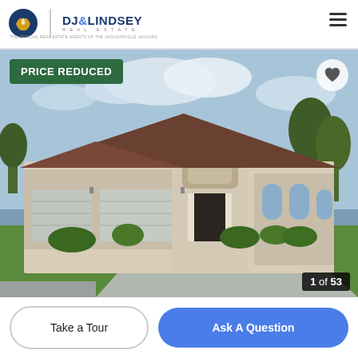DJ & Lindsey Real Estate — THE OFFICIAL REAL ESTATE AGENTS OF THE JACKSONVILLE JAGUARS
[Figure (photo): Exterior photo of a large single-story Florida home with beige stucco, dark brown roof, triple garage, arched windows and entryway, green lawn, and cloudy sky. Badge overlaid: PRICE REDUCED. Heart icon top-right. Photo counter: 1 of 53.]
PRICE REDUCED
1 of 53
Take a Tour
Ask A Question